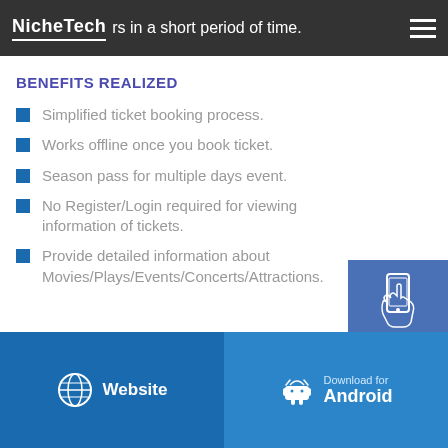NicheTech — rs in a short period of time.
BENEFITS REALIZED
Simplified ticket booking process.
Works offline once you book ticket.
Season pass for multiple days event.
No Register/Login required for viewing information of tickets.
Provide detailed information about Movies/Plays/Events/Concerts/Attractions.
[Figure (illustration): GET A CALL BACK button with phone icon]
Website | Download for Android